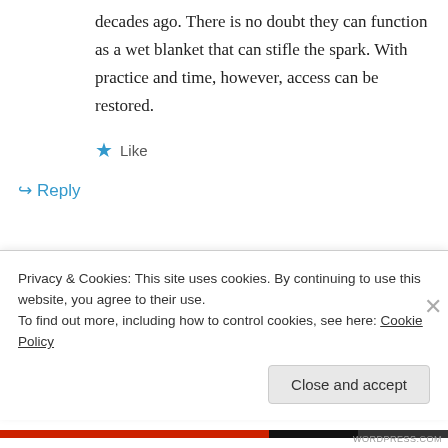decades ago. There is no doubt they can function as a wet blanket that can stifle the spark. With practice and time, however, access can be restored.
★ Like
↪ Reply
Wil on January 6, 2014 at 10:54 pm
Thank you. Your testament truly gives me
Privacy & Cookies: This site uses cookies. By continuing to use this website, you agree to their use.
To find out more, including how to control cookies, see here: Cookie Policy
Close and accept